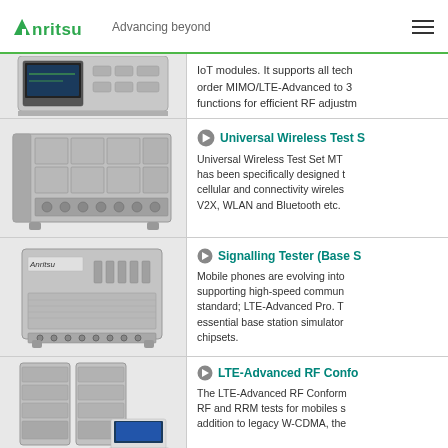Anritsu Advancing beyond
[Figure (photo): Anritsu test equipment device (partially visible, top-cropped)]
IoT modules. It supports all tech order MIMO/LTE-Advanced to 3 functions for efficient RF adjustm
[Figure (photo): Anritsu Universal Wireless Test Set MT hardware unit, rack-mounted with multiple modules]
Universal Wireless Test S
Universal Wireless Test Set MT has been specifically designed t cellular and connectivity wireles V2X, WLAN and Bluetooth etc.
[Figure (photo): Anritsu Signalling Tester (Base Station Simulator) rack-mounted unit]
Signalling Tester (Base S
Mobile phones are evolving into supporting high-speed commun standard; LTE-Advanced Pro. T essential base station simulator chipsets.
[Figure (photo): Anritsu LTE-Advanced RF Conformance test system with rack enclosures and laptop]
LTE-Advanced RF Confo
The LTE-Advanced RF Conform RF and RRM tests for mobiles s addition to legacy W-CDMA, the